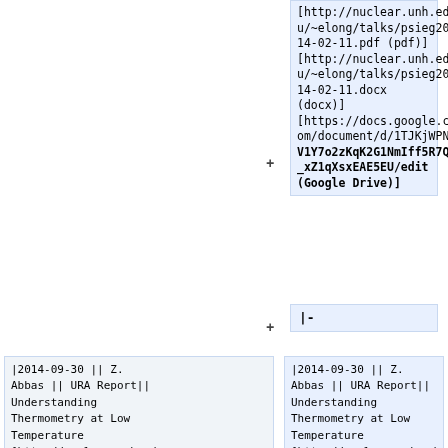[http://nuclear.unh.edu/~elong/talks/psieg2014-02-11.pdf (pdf)] [http://nuclear.unh.edu/~elong/talks/psieg2014-02-11.docx (docx)] [https://docs.google.com/document/d/1TJKjWPNV1Y7o2zKqK2G1NmIff5R7Q_xZ1qXsxEAE5EU/edit (Google Drive)]
|-
|2014-09-30 || Z. Abbas || URA Report|| Understanding Thermometry at Low Temperature [http://nuclear.unh.edu/dnp_lab/2014_abbas_zain_report.tgz (tgz)]
|2014-09-30 || Z. Abbas || URA Report|| Understanding Thermometry at Low Temperature [http://nuclear.unh.edu/dnp_lab/2014_abbas_zain_report.tgz (tgz)]